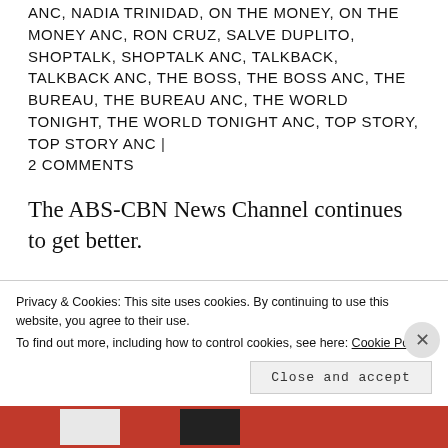ANC, NADIA TRINIDAD, ON THE MONEY, ON THE MONEY ANC, RON CRUZ, SALVE DUPLITO, SHOPTALK, SHOPTALK ANC, TALKBACK, TALKBACK ANC, THE BOSS, THE BOSS ANC, THE BUREAU, THE BUREAU ANC, THE WORLD TONIGHT, THE WORLD TONIGHT ANC, TOP STORY, TOP STORY ANC | 2 COMMENTS
The ABS-CBN News Channel continues to get better.
The past few months saw a gradual makeover in ANC's programming
Privacy & Cookies: This site uses cookies. By continuing to use this website, you agree to their use.
To find out more, including how to control cookies, see here: Cookie Policy
Close and accept